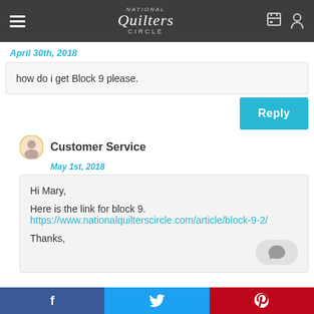National Quilters Circle
April 30th, 2018
how do i get Block 9 please.
Reply
Customer Service
May 1st, 2018
Hi Mary,

Here is the link for block 9.
https://www.nationalquilterscircle.com/article/block-9-2/

Thanks,